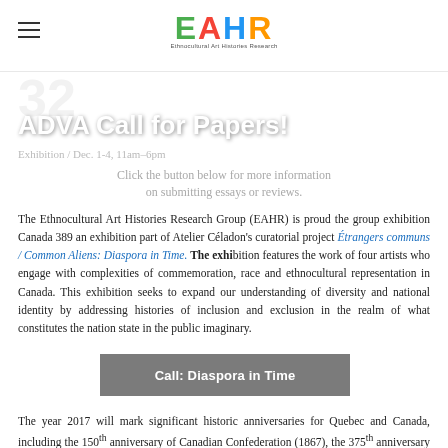EAHR — Ethnocultural Art Histories Research
ADVA Call for Papers!
Exhibition / Dec. 1-4, 11am–6pm
Click the button below for more information on submitting essays or reviews.
Call: Diaspora in Time
The Ethnocultural Art Histories Research Group (EAHR) is proud the group exhibition Canada 389 an exhibition part of Atelier Céladon's curatorial project Étrangers communs / Common Aliens: Diaspora in Time. The exhibition features the work of four artists who engage with complexities of commemoration, race and ethnocultural representation in Canada. This exhibition seeks to expand our understanding of diversity and national identity by addressing histories of inclusion and exclusion in the realm of what constitutes the nation state in the public imaginary.
The year 2017 will mark significant historic anniversaries for Quebec and Canada, including the 150th anniversary of Canadian Confederation (1867), the 375th anniversary of the City of Montreal (1642), the 70th anniversary of